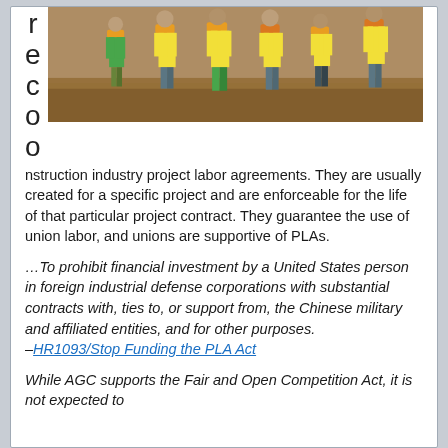[Figure (photo): Construction workers in yellow vests and orange hard hats walking on a job site with dirt/earth background]
reconstruction industry project labor agreements. They are usually created for a specific project and are enforceable for the life of that particular project contract. They guarantee the use of union labor, and unions are supportive of PLAs.
…To prohibit financial investment by a United States person in foreign industrial defense corporations with substantial contracts with, ties to, or support from, the Chinese military and affiliated entities, and for other purposes. –HR1093/Stop Funding the PLA Act
While AGC supports the Fair and Open Competition Act, it is not expected to